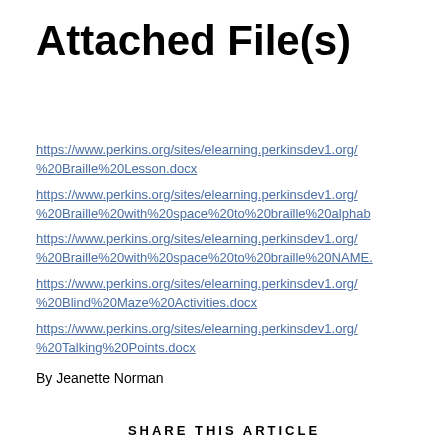Attached File(s)
https://www.perkins.org/sites/elearning.perkinsdev1.org/ %20Braille%20Lesson.docx
https://www.perkins.org/sites/elearning.perkinsdev1.org/ %20Braille%20with%20space%20to%20braille%20alphab…
https://www.perkins.org/sites/elearning.perkinsdev1.org/ %20Braille%20with%20space%20to%20braille%20NAME.…
https://www.perkins.org/sites/elearning.perkinsdev1.org/ %20Blind%20Maze%20Activities.docx
https://www.perkins.org/sites/elearning.perkinsdev1.org/ %20Talking%20Points.docx
By Jeanette Norman
SHARE THIS ARTICLE